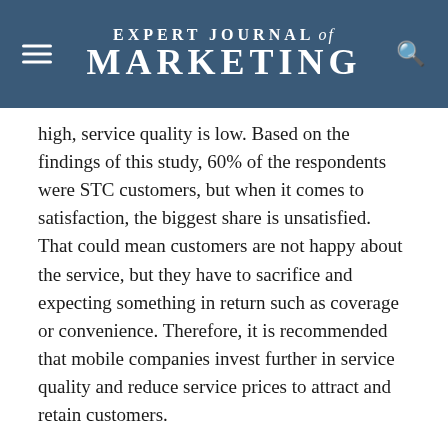EXPERT JOURNAL of MARKETING
high, service quality is low. Based on the findings of this study, 60% of the respondents were STC customers, but when it comes to satisfaction, the biggest share is unsatisfied. That could mean customers are not happy about the service, but they have to sacrifice and expecting something in return such as coverage or convenience. Therefore, it is recommended that mobile companies invest further in service quality and reduce service prices to attract and retain customers.
Based on data findings, there is a potential switching behavior about 52%, which is a relatively high percentage and keen managers can benefit from this point by providing suitable grounds for this portion by different means around the discussed hypotheses. Brand switching is at a